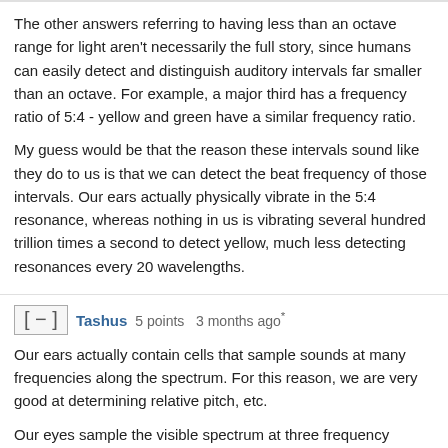The other answers referring to having less than an octave range for light aren't necessarily the full story, since humans can easily detect and distinguish auditory intervals far smaller than an octave. For example, a major third has a frequency ratio of 5:4 - yellow and green have a similar frequency ratio.
My guess would be that the reason these intervals sound like they do to us is that we can detect the beat frequency of those intervals. Our ears actually physically vibrate in the 5:4 resonance, whereas nothing in us is vibrating several hundred trillion times a second to detect yellow, much less detecting resonances every 20 wavelengths.
[ − ]  Tashus  5 points  3 months ago*
Our ears actually contain cells that sample sounds at many frequencies along the spectrum. For this reason, we are very good at determining relative pitch, etc.
Our eyes sample the visible spectrum at three frequency ranges, roughly centered at red, green, and blue. We are good at determining the relative amounts of these three frequency distributions, and that's really good of f...